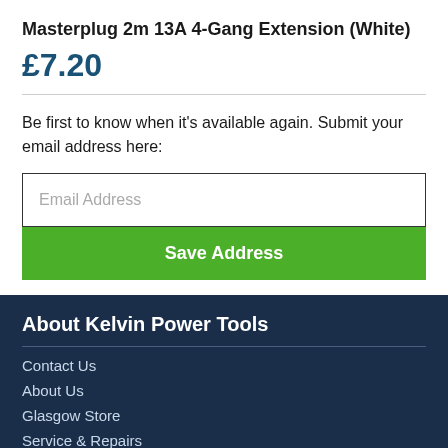Masterplug 2m 13A 4-Gang Extension (White)
£7.20
Be first to know when it's available again. Submit your email address here:
Email Address
Save Address
About Kelvin Power Tools
Contact Us
About Us
Glasgow Store
Service & Repairs